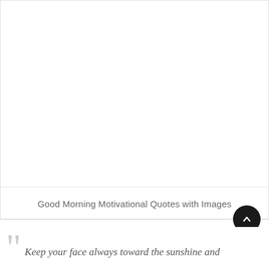[Figure (photo): Large image placeholder area at top of card, mostly white/blank]
Good Morning Motivational Quotes with Images
Keep your face always toward the sunshine and